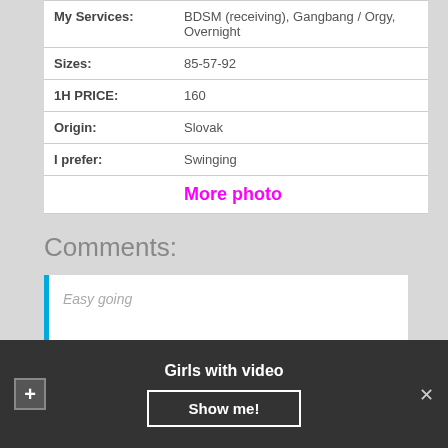| My Services: | BDSM (receiving), Gangbang / Orgy, Overnight |
| Sizes: | 85-57-92 |
| 1H PRICE: | 160 |
| Origin: | Slovak |
| I prefer: | Swinging |
|  | More photo |
Comments:
Easy going
Girls with video
Show me!